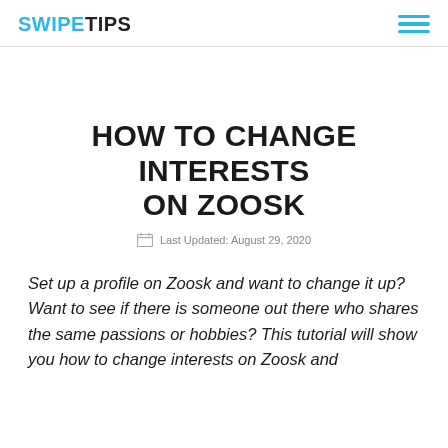SWIPETIPS
HOW TO CHANGE INTERESTS ON ZOOSK
Last Updated: August 29, 2020
Set up a profile on Zoosk and want to change it up? Want to see if there is someone out there who shares the same passions or hobbies? This tutorial will show you how to change interests on Zoosk and